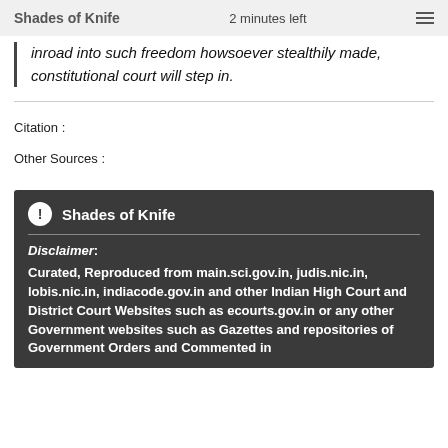Shades of Knife  2 minutes left
inroad into such freedom howsoever stealthily made, constitutional court will step in.
Citation :
Other Sources :
Shades of Knife
Disclaimer: Curated, Reproduced from main.sci.gov.in, judis.nic.in, lobis.nic.in, indiacode.gov.in and other Indian High Court and District Court Websites such as ecourts.gov.in or any other Government websites such as Gazettes and repositories of Government Orders and Commented in